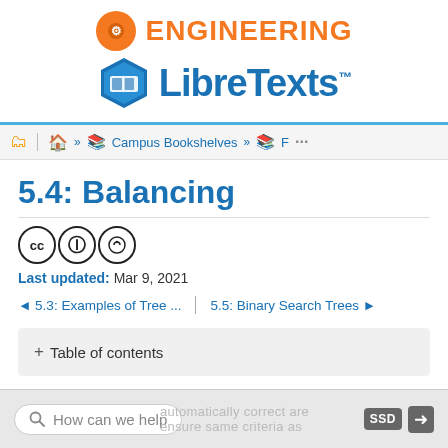[Figure (logo): Engineering LibreTexts logo with orange gear icon and blue hexagon book icon]
Home » Campus Bookshelves » F ...
5.4: Balancing
[Figure (other): Creative Commons license icons: CC BY SA]
Last updated: Mar 9, 2021
◄ 5.3: Examples of Tree ...   5.5: Binary Search Trees ►
+ Table of contents
How can we help   [ghost text about content being automatically correct]   SSD [login icon]